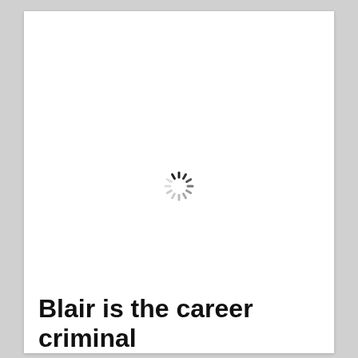[Figure (other): A spinning loading indicator (spinner) rendered as a circular arrangement of short radial dashes in varying shades of dark gray to light gray, indicating a loading state.]
Blair is the career criminal